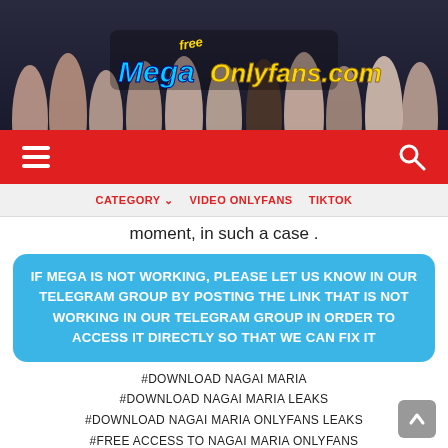[Figure (illustration): Website banner for FreeM egaOnlyfans.com with stylized text logo and silhouettes of women in the background]
Navigation bar with hamburger menu and search icon on red background
CATEGORY ∨   VIDEO ONLYFANS   TIKTOK
moment, in such a case .
IF MEGA IS NOT WORKING, PLEASE LET US KNOW IN OUR TELEGRAM GROUP BY POSTING THE LINK THAT IS NOT WORKING IN OUR TELEGRAM GROUP IN ORDER TO ACCESS IT DIRECTLY SO THAT WE CAN FIX IT
#DOWNLOAD NAGAI MARIA
#DOWNLOAD NAGAI MARIA LEAKS
#DOWNLOAD NAGAI MARIA ONLYFANS LEAKS
#FREE ACCESS TO NAGAI MARIA ONLYFANS
#FREE NAGAI MARIA ONLYFANS